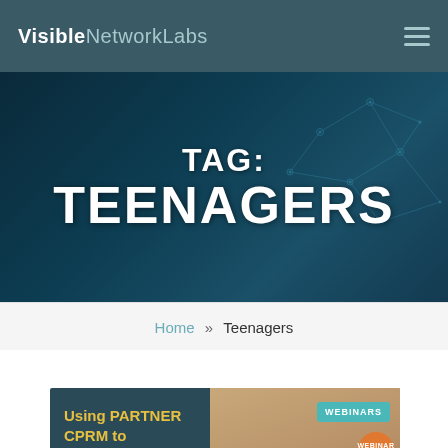VisibleNetworkLabs
TAG: TEENAGERS
Home » Teenagers
[Figure (illustration): Card with yellow text 'Using PARTNER CPRM to Strengthen Network Connections' on dark teal background, beside a photo of a tablet on a table with coffee cup; WEBINARS badge in teal and WEBINAR RECORDING badge in orange circle overlay]